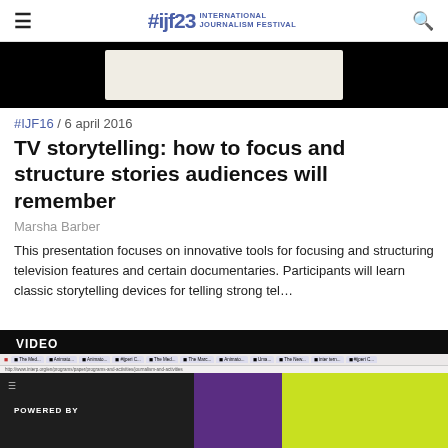#ijf23 INTERNATIONAL JOURNALISM FESTIVAL
[Figure (screenshot): Black video thumbnail strip with white/beige content area visible at top]
#IJF16 / 6 april 2016
TV storytelling: how to focus and structure stories audiences will remember
Marsha Barber
This presentation focuses on innovative tools for focusing and structuring television features and certain documentaries. Participants will learn classic storytelling devices for telling strong tel…
[Figure (screenshot): Video player screenshot showing browser interface with VIDEO label, browser tabs, URL bar, and video content with POWERED BY text on dark background, purple and yellow-green panels]